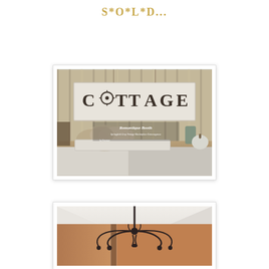S*O*L*D...
[Figure (photo): Vintage market booth display with a white painted wooden panel sign spelling COTTAGE using decorative antique objects as letters, surrounded by dried hydrangeas, garden tools, and rustic items on a wooden surface. Overlay text reads 'Romantique Booth, Springfield Gray Vintage Marketplace Extravaganza'.]
[Figure (photo): Ornate wrought iron chandelier or hanging fixture photographed at an outdoor market under a white tent, with warm-toned panels visible in the background.]